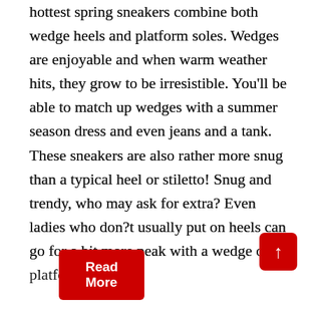hottest spring sneakers combine both wedge heels and platform soles. Wedges are enjoyable and when warm weather hits, they grow to be irresistible. You'll be able to match up wedges with a summer season dress and even jeans and a tank. These sneakers are also rather more snug than a typical heel or stiletto! Snug and trendy, who may ask for extra? Even ladies who don?t usually put on heels can go for a bit more peak with a wedge or platform heel.
This extremely demanded Italian model is excellent and really sensible for both young girls and boys considering that it is available in fabulous selections as trainers, informal shoes, clogs, gown, dress boot, dress informal, slide, toe throng, strolling, rain-footwear, ... Read t[ore]